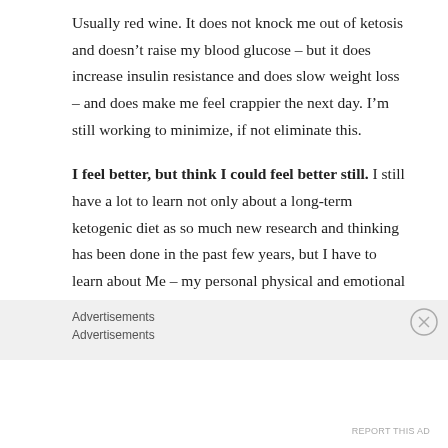Usually red wine. It does not knock me out of ketosis and doesn't raise my blood glucose – but it does increase insulin resistance and does slow weight loss – and does make me feel crappier the next day. I'm still working to minimize, if not eliminate this.
I feel better, but think I could feel better still. I still have a lot to learn not only about a long-term ketogenic diet as so much new research and thinking has been done in the past few years, but I have to learn about Me – my personal physical and emotional makeup at the present time in the context of a ketogenic diet.
Advertisements
Advertisements